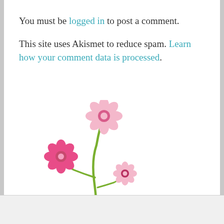You must be logged in to post a comment.
This site uses Akismet to reduce spam. Learn how your comment data is processed.
[Figure (illustration): A decorative illustration of three pink flowers with green stems and leaves. One larger bright pink flower on the left, one pale pink flower at the top center, and one smaller pale pink flower on the lower right, all on a single branching green stem with two green leaves at the base.]
Follow ...